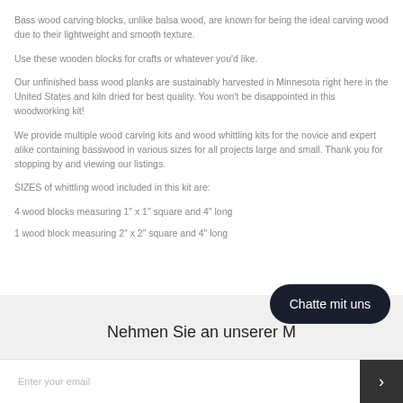Bass wood carving blocks, unlike balsa wood, are known for being the ideal carving wood due to their lightweight and smooth texture.
Use these wooden blocks for crafts or whatever you'd like.
Our unfinished bass wood planks are sustainably harvested in Minnesota right here in the United States and kiln dried for best quality. You won't be disappointed in this woodworking kit!
We provide multiple wood carving kits and wood whittling kits for the novice and expert alike containing basswood in various sizes for all projects large and small. Thank you for stopping by and viewing our listings.
SIZES of whittling wood included in this kit are:
4 wood blocks measuring 1" x 1" square and 4" long
1 wood block measuring 2" x 2" square and 4" long
Nehmen Sie an unserer M
Enter your email
Chatte mit uns